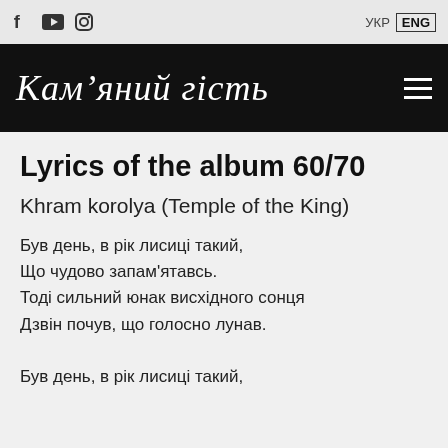f [youtube] [instagram] | УКР ENG
Кам'яний гість
Lyrics of the album 60/70
Khram korolya (Temple of the King)
Був день, в рік лисиці такий,
Що чудово запам'ятавсь.
Тоді сильний юнак висхідного сонця
Дзвін почув, що голосно лунав.

Був день, в рік лисиці такий,